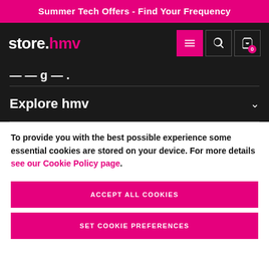Summer Tech Offers - Find Your Frequency
[Figure (logo): store.hmv logo in white and pink text on dark background, with hamburger menu, search, and cart icons]
Login
Explore hmv
To provide you with the best possible experience some essential cookies are stored on your device. For more details see our Cookie Policy page.
ACCEPT ALL COOKIES
SET COOKIE PREFERENCES